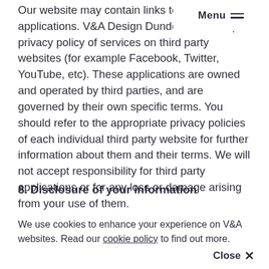Menu
Our website may contain links to third party websites and applications. V&A Design Dundee is not responsible for the privacy policy of services on third party websites (for example Facebook, Twitter, YouTube, etc). These applications are owned and operated by third parties, and are governed by their own specific terms. You should refer to the appropriate privacy policies of each individual third party website for further information about them and their terms. We will not accept responsibility for third party applications or for any loss or damage arising from your use of them.
8. Disclosure of your information
We use cookies to enhance your experience on V&A websites. Read our cookie policy to find out more.
Close ×